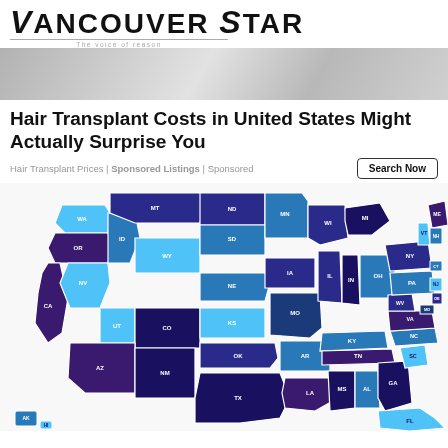Vancouver Star
[Figure (photo): Close-up of a person in a white medical coat or shirt, cropped to show torso/collar area]
Hair Transplant Costs in United States Might Actually Surprise You
Hair Transplant Prices | Sponsored Listings | Sponsored
[Figure (map): US map showing hair transplant cost data by state, with states colored in shades of blue and purple. State abbreviations labeled on each state.]